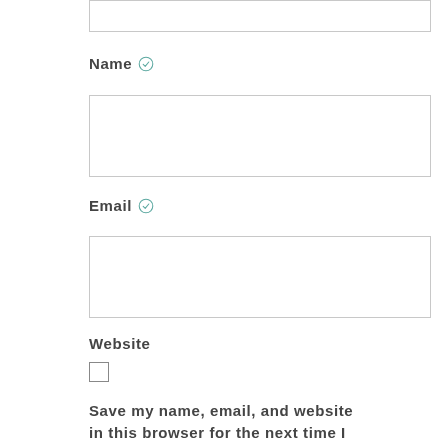[Figure (other): Top input field (partial, cropped at top)]
Name ✓
[Figure (other): Name input text field box]
Email ✓
[Figure (other): Email input text field box]
Website
[Figure (other): Website input text field box]
[Figure (other): Checkbox (unchecked)]
Save my name, email, and website in this browser for the next time I